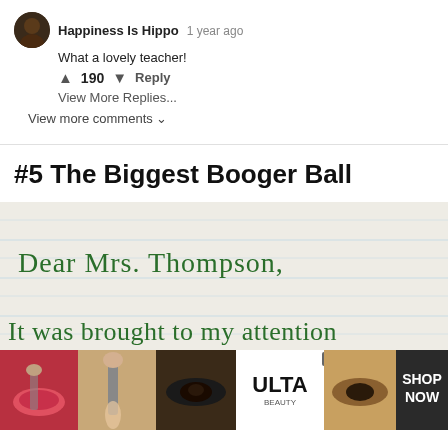Happiness Is Hippo  1 year ago
What a lovely teacher!
↑ 190 ↓  Reply
View More Replies...
View more comments ∨
#5 The Biggest Booger Ball
[Figure (photo): Handwritten letter on lined paper starting with 'Dear Mrs. Thompson,' and 'It was brought to my attention']
[Figure (photo): ULTA Beauty advertisement banner with makeup imagery and 'SHOP NOW' text]